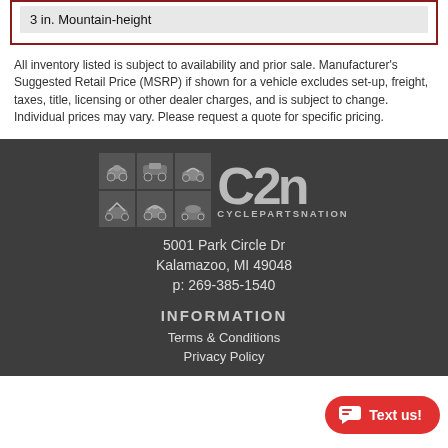| 3 in. Mountain-height |
All inventory listed is subject to availability and prior sale. Manufacturer's Suggested Retail Price (MSRP) if shown for a vehicle excludes set-up, freight, taxes, title, licensing or other dealer charges, and is subject to change. Individual prices may vary. Please request a quote for specific pricing.
[Figure (logo): CyclePartsNation (CPN) logo with vehicle icon grid and large CPN text]
5001 Park Circle Dr
Kalamazoo, MI 49048
p: 269-385-1540
INFORMATION
Terms & Conditions
Privacy Policy